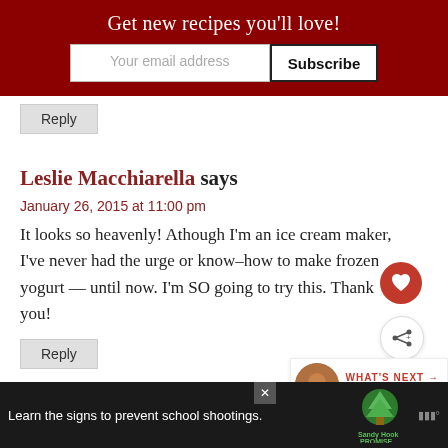Get new recipes you'll love!
Reply
Leslie Macchiarella says
January 26, 2015 at 11:00 pm
It looks so heavenly! Athough I'm an ice cream maker, I've never had the urge or know-how to make frozen yogurt — until now. I'm SO going to try this. Thank you!
Reply
[Figure (infographic): Sandy Hook Promise advertisement banner at bottom: 'Learn the signs to prevent school shootings.' with tree logo]
WHAT'S NEXT → Recipe Index